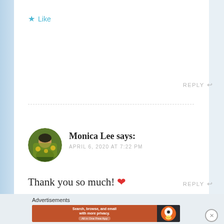★ Like
REPLY ↩
Monica Lee says: APRIL 6, 2020 AT 7:22 PM
Thank you so much! ❤
★ Like
REPLY ↩
Advertisements
[Figure (other): DuckDuckGo advertisement banner: orange background with text 'Search, browse, and email with more privacy. All in One Free App' and DuckDuckGo logo on dark background]